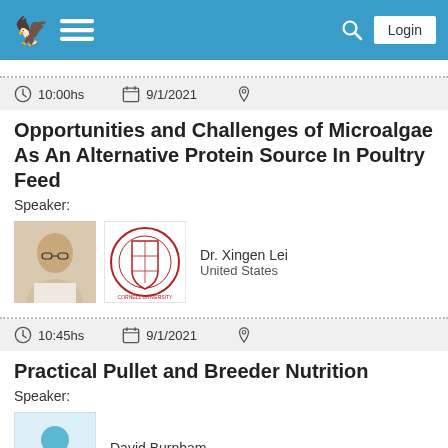Navigation bar with logo, menu, search, and Login button
10:00hs   9/1/2021
Opportunities and Challenges of Microalgae As An Alternative Protein Source In Poultry Feed
Speaker:
[Figure (photo): Photo of Dr. Xingen Lei and Cornell University seal logo]
Dr. Xingen Lei
United States
10:45hs   9/1/2021
Practical Pullet and Breeder Nutrition
Speaker:
[Figure (photo): Placeholder person icon for David Burnham]
David Burnham
United States